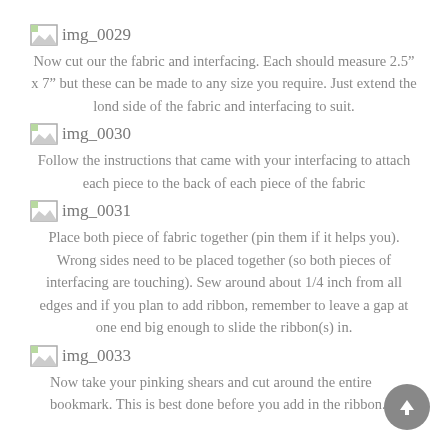[Figure (other): Broken image placeholder labeled img_0029]
Now cut our the fabric and interfacing. Each should measure 2.5" x 7" but these can be made to any size you require. Just extend the lond side of the fabric and interfacing to suit.
[Figure (other): Broken image placeholder labeled img_0030]
Follow the instructions that came with your interfacing to attach each piece to the back of each piece of the fabric
[Figure (other): Broken image placeholder labeled img_0031]
Place both piece of fabric together (pin them if it helps you). Wrong sides need to be placed together (so both pieces of interfacing are touching). Sew around about 1/4 inch from all edges and if you plan to add ribbon, remember to leave a gap at one end big enough to slide the ribbon(s) in.
[Figure (other): Broken image placeholder labeled img_0033]
Now take your pinking shears and cut around the entire bookmark. This is best done before you add in the ribbon. This